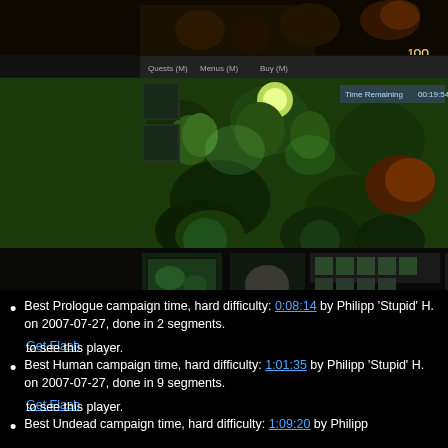[Figure (screenshot): Warcraft III game screenshot showing a top-down view of a green forest map with units, a minimap in the bottom-left, unit controls in the bottom-right, and a timer showing 00:19:54 Time Remaining in the top-right area. There is also a top banner showing another game scene.]
Best Prologue campaign time, hard difficulty: 0:08:14 by Philipp 'Stupid' H. on 2007-07-27, done in 2 segments.
Get Flash to see this player.
Best Human campaign time, hard difficulty: 1:01:35 by Philipp 'Stupid' H. on 2007-07-27, done in 9 segments.
Get Flash to see this player.
Best Undead campaign time, hard difficulty: 1:09:20 by Philipp